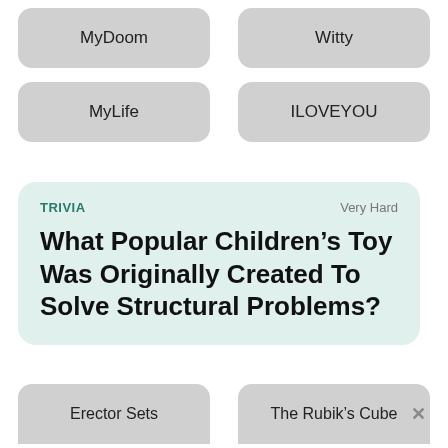MyDoom
Witty
MyLife
ILOVEYOU
TRIVIA
Very Hard
What Popular Children’s Toy Was Originally Created To Solve Structural Problems?
Erector Sets
The Rubik’s Cube